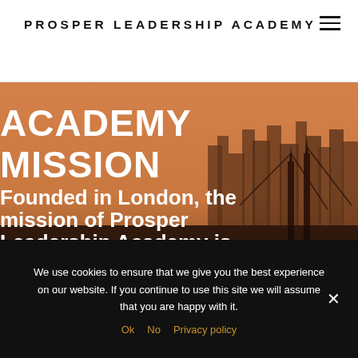PROSPER LEADERSHIP ACADEMY
Insightful advice on leadership
[Figure (screenshot): Hero image of London skyline with an orange/amber sky tone, showing city buildings and Tower Bridge silhouetted against the warm sky. Overlaid with large bold white text reading 'ACADEMY MISSION' and below 'Founded in London, the mission of Prosper Leadership Academy is']
We use cookies to ensure that we give you the best experience on our website. If you continue to use this site we will assume that you are happy with it.
Ok  No  Privacy policy